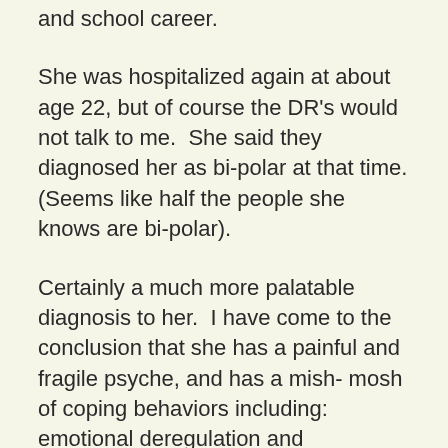and school career.
She was hospitalized again at about age 22, but of course the DR's would not talk to me.  She said they diagnosed her as bi-polar at that time. (Seems like half the people she knows are bi-polar).
Certainly a much more palatable diagnosis to her.  I have come to the conclusion that she has a painful and fragile psyche, and has a mish- mosh of coping behaviors including: emotional deregulation and immaturity,